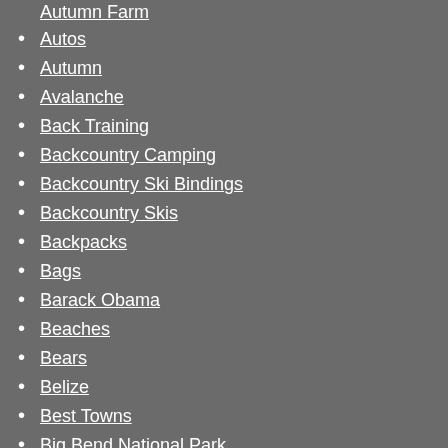Autumn Farm (partial, top)
Autos
Autumn
Avalanche
Back Training
Backcountry Camping
Backcountry Ski Bindings
Backcountry Skis
Backpacks
Bags
Barack Obama
Beaches
Bears
Belize
Best Towns
Big Bend National Park
Big-Wave Surfing
Bike Safety
Bikepacking
Bikes
Biking
BLM
BMI calculators for runners
BMI charts for runners
Boat Travel
Books